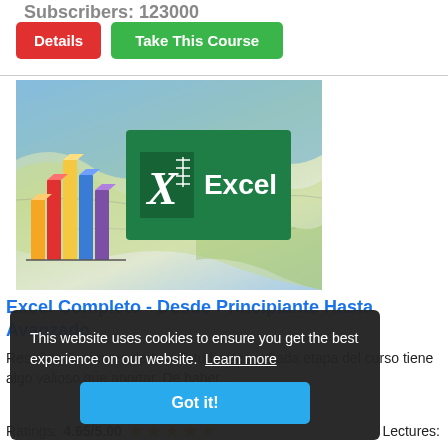Subscribers: 123000
Details | Take This Course
[Figure (screenshot): Excel course thumbnail showing colorful bar chart graphic and Microsoft Excel logo on a map background]
Excel Completo - Desde Principiante Hasta Avanzado
Reseñas Recientes de Los Estudiantes: «Cada etapa del curso tiene algo valioso que aportar. De haber...
This website uses cookies to ensure you get the best experience on our website. Learn more
Got it!
Ratings: 4.65/5.00 ★★★★★ Lectures: